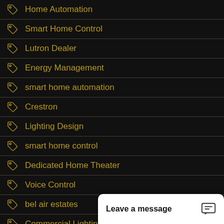Home Automation
Smart Home Control
Lutron Dealer
Energy Management
smart home automation
Crestron
Lighting Design
smart home control
Dedicated Home Theater
Voice Control
bel air estates
Commercial Lighting Control
Private Home Theater
Smart Home Security
los angeles estates
Leave a message